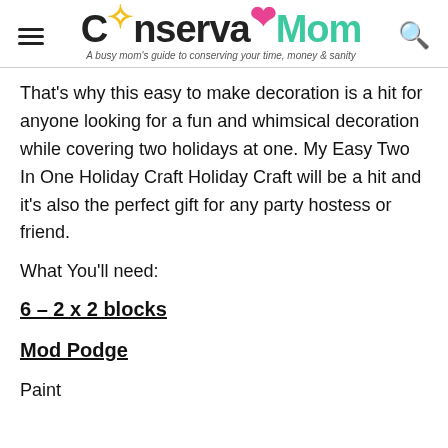ConservaMom — A busy mom's guide to conserving your time, money & sanity
That's why this easy to make decoration is a hit for anyone looking for a fun and whimsical decoration while covering two holidays at one. My Easy Two In One Holiday Craft Holiday Craft will be a hit and it's also the perfect gift for any party hostess or friend.
What You'll need:
6 – 2 x 2 blocks
Mod Podge
Paint